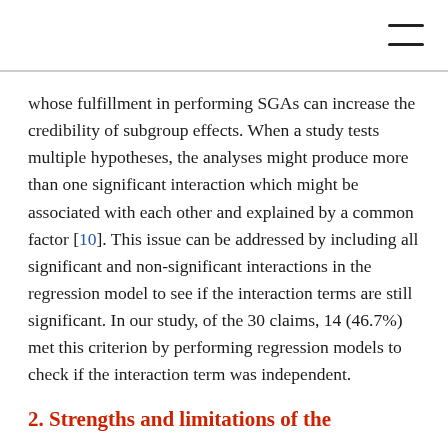whose fulfillment in performing SGAs can increase the credibility of subgroup effects. When a study tests multiple hypotheses, the analyses might produce more than one significant interaction which might be associated with each other and explained by a common factor [10]. This issue can be addressed by including all significant and non-significant interactions in the regression model to see if the interaction terms are still significant. In our study, of the 30 claims, 14 (46.7%) met this criterion by performing regression models to check if the interaction term was independent.
2. Strengths and limitations of the